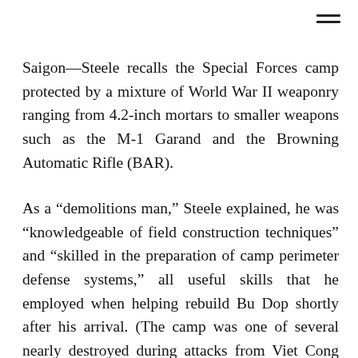Saigon—Steele recalls the Special Forces camp protected by a mixture of World War II weaponry ranging from 4.2-inch mortars to smaller weapons such as the M-1 Garand and the Browning Automatic Rifle (BAR).
As a “demolitions man,” Steele explained, he was “knowledgeable of field construction techniques” and “skilled in the preparation of camp perimeter defense systems,” all useful skills that he employed when helping rebuild Bu Dop shortly after his arrival. (The camp was one of several nearly destroyed during attacks from Viet Cong regiments in the weeks